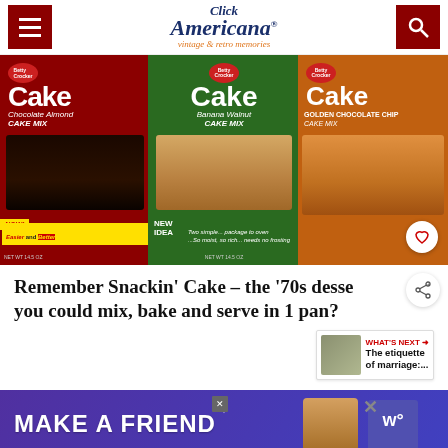Click Americana — vintage & retro memories
[Figure (photo): Three Betty Crocker Snackin' Cake mix boxes: Chocolate Almond, Banana Walnut, and Golden Chocolate Chip, with photos of cake slices on each box.]
Remember Snackin' Cake – the '70s desse you could mix, bake and serve in 1 pan?
[Figure (photo): What's Next thumbnail: The etiquette of marriage article thumbnail image]
[Figure (photo): Advertisement banner: MAKE A FRIEND with a dog image]